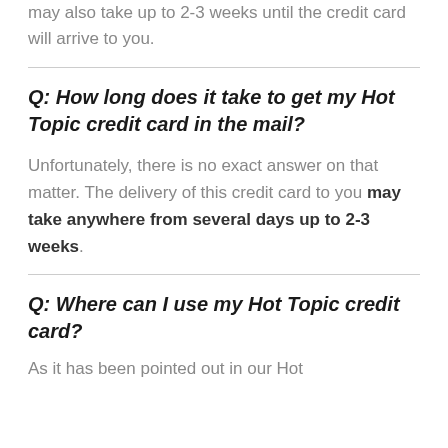may also take up to 2-3 weeks until the credit card will arrive to you.
Q: How long does it take to get my Hot Topic credit card in the mail?
Unfortunately, there is no exact answer on that matter. The delivery of this credit card to you may take anywhere from several days up to 2-3 weeks.
Q: Where can I use my Hot Topic credit card?
As it has been pointed out in our Hot